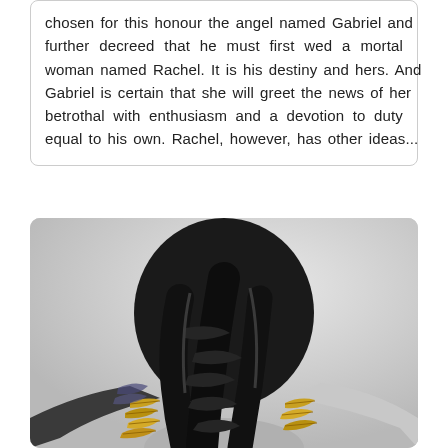chosen for this honour the angel named Gabriel and further decreed that he must first wed a mortal woman named Rachel. It is his destiny and hers. And Gabriel is certain that she will greet the news of her betrothal with enthusiasm and a devotion to duty equal to his own. Rachel, however, has other ideas...
[Figure (photo): Back view of a woman with dark braided hair adorned with gold accents, viewed from behind, against a light gray background. The image is black and white except for golden feather-like decorations near the braid.]